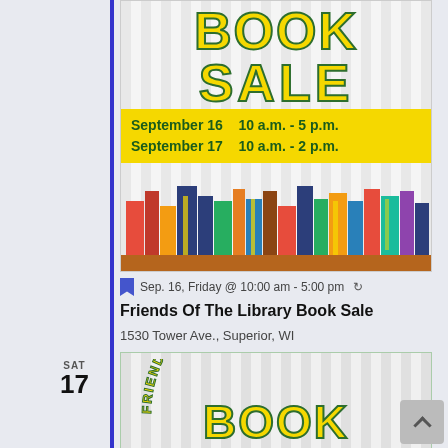[Figure (illustration): Friends of the Library Book Sale poster showing BOOK SALE text in yellow with green outline, yellow banner with September 16 10 a.m.-5 p.m. and September 17 10 a.m.-2 p.m., and colorful books on a shelf below]
Sep. 16, Friday @ 10:00 am - 5:00 pm ↻
Friends Of The Library Book Sale
1530 Tower Ave., Superior, WI
SAT 17
[Figure (illustration): Friends of the Library Book Sale poster (partial) showing arc text FRIENDS OF THE LIBRARY in green outline style and large BOOK text in yellow with green outline]